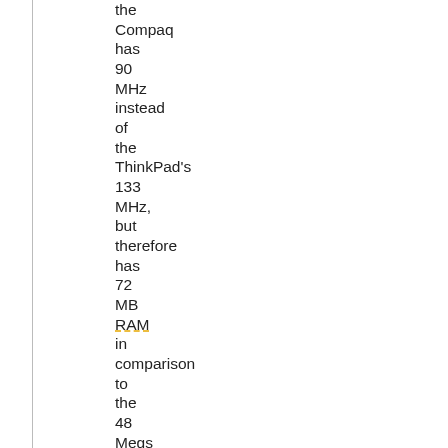the Compaq has 90 MHz instead of the ThinkPad's 133 MHz, but therefore has 72 MB RAM in comparison to the 48 Megs the ThinkPad has. Also regarding disk space the Compaq outperforms